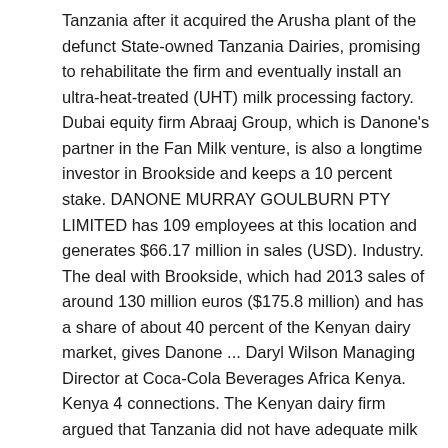Tanzania after it acquired the Arusha plant of the defunct State-owned Tanzania Dairies, promising to rehabilitate the firm and eventually install an ultra-heat-treated (UHT) milk processing factory. Dubai equity firm Abraaj Group, which is Danone's partner in the Fan Milk venture, is also a longtime investor in Brookside and keeps a 10 percent stake. DANONE MURRAY GOULBURN PTY LIMITED has 109 employees at this location and generates $66.17 million in sales (USD). Industry. The deal with Brookside, which had 2013 sales of around 130 million euros ($175.8 million) and has a share of about 40 percent of the Kenyan dairy market, gives Danone ... Daryl Wilson Managing Director at Coca-Cola Beverages Africa Kenya. Kenya 4 connections. The Kenyan dairy firm argued that Tanzania did not have adequate milk supplies to feed a plant, and insisted that in order to viably process the milk in-country, it needed to collect at least 60,000 litres daily. It currently collects